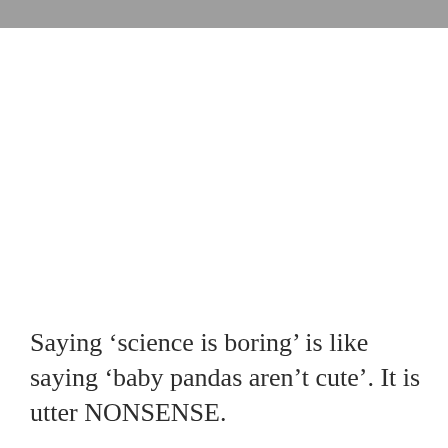Saying ‘science is boring’ is like saying ‘baby pandas aren’t cute’. It is utter NONSENSE.